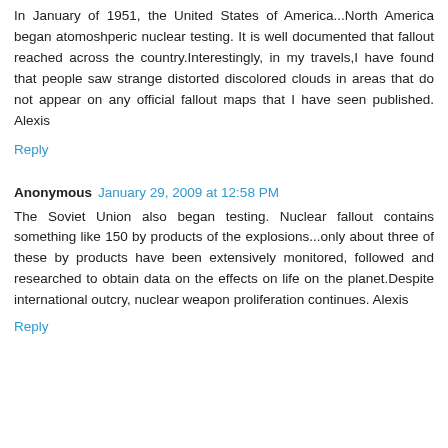In January of 1951, the United States of America...North America began atomoshperic nuclear testing. It is well documented that fallout reached across the country.Interestingly, in my travels,I have found that people saw strange distorted discolored clouds in areas that do not appear on any official fallout maps that I have seen published. Alexis
Reply
Anonymous  January 29, 2009 at 12:58 PM
The Soviet Union also began testing. Nuclear fallout contains something like 150 by products of the explosions...only about three of these by products have been extensively monitored, followed and researched to obtain data on the effects on life on the planet.Despite international outcry, nuclear weapon proliferation continues. Alexis
Reply